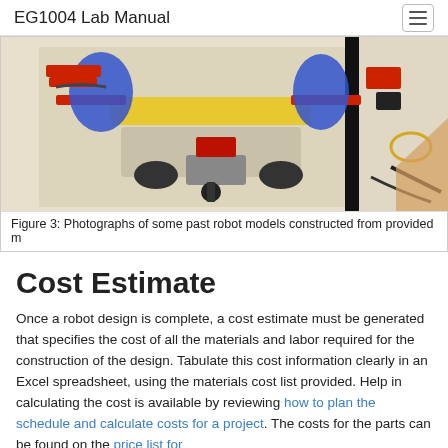EG1004 Lab Manual
[Figure (photo): Photographs of some past robot models constructed from provided materials, showing LEGO-style robots with blue and red pieces on a light-colored surface.]
Figure 3: Photographs of some past robot models constructed from provided m
Cost Estimate
Once a robot design is complete, a cost estimate must be generated that specifies the cost of all the materials and labor required for the construction of the design. Tabulate this cost information clearly in an Excel spreadsheet, using the materials cost list provided. Help in calculating the cost is available by reviewing how to plan the schedule and calculate costs for a project. The costs for the parts can be found on the price list for